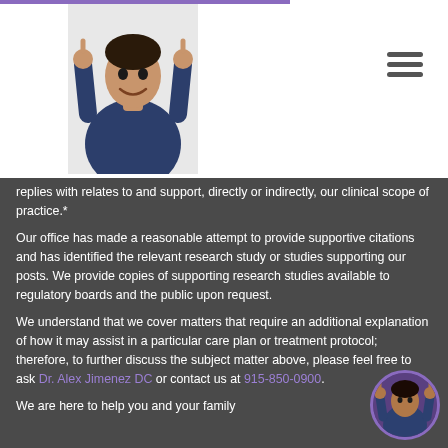[Figure (photo): Doctor in dark blue scrubs giving two thumbs up, shown in website header]
[Figure (illustration): Hamburger menu icon (three horizontal lines) in top right of header]
replies with relates to and support, directly or indirectly, our clinical scope of practice.*
Our office has made a reasonable attempt to provide supportive citations and has identified the relevant research study or studies supporting our posts. We provide copies of supporting research studies available to regulatory boards and the public upon request.
We understand that we cover matters that require an additional explanation of how it may assist in a particular care plan or treatment protocol; therefore, to further discuss the subject matter above, please feel free to ask Dr. Alex Jimenez DC or contact us at 915-850-0900.
We are here to help you and your family
[Figure (photo): Small circular avatar of doctor giving thumbs up, floating in bottom right corner]